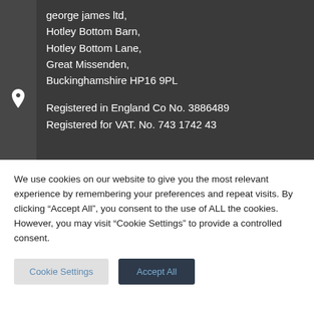george james ltd, Hotley Bottom Barn, Hotley Bottom Lane, Great Missenden, Buckinghamshire HP16 9PL

Registered in England Co No. 3886489
Registered for VAT. No. 743 1742 43
We use cookies on our website to give you the most relevant experience by remembering your preferences and repeat visits. By clicking “Accept All”, you consent to the use of ALL the cookies. However, you may visit "Cookie Settings" to provide a controlled consent.